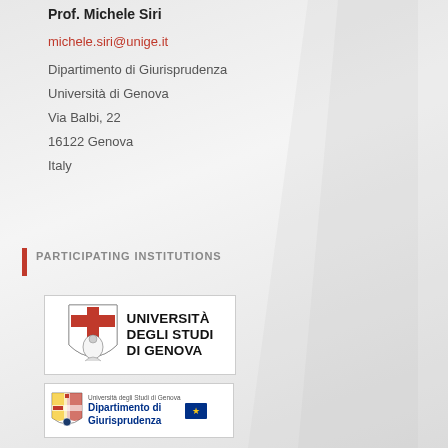Prof. Michele Siri
michele.siri@unige.it
Dipartimento di Giurisprudenza
Università di Genova
Via Balbi, 22
16122 Genova
Italy
PARTICIPATING INSTITUTIONS
[Figure (logo): Università degli Studi di Genova logo with shield and text]
[Figure (logo): Dipartimento di Giurisprudenza, Università degli Studi di Genova logo]